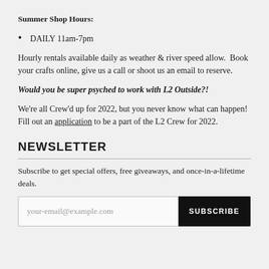Summer Shop Hours:
DAILY 11am-7pm
Hourly rentals available daily as weather & river speed allow.  Book your crafts online, give us a call or shoot us an email to reserve.
Would you be super psyched to work with L2 Outside?!
We're all Crew'd up for 2022, but you never know what can happen! Fill out an application to be a part of the L2 Crew for 2022.
NEWSLETTER
Subscribe to get special offers, free giveaways, and once-in-a-lifetime deals.
your-email@example.com  SUBSCRIBE